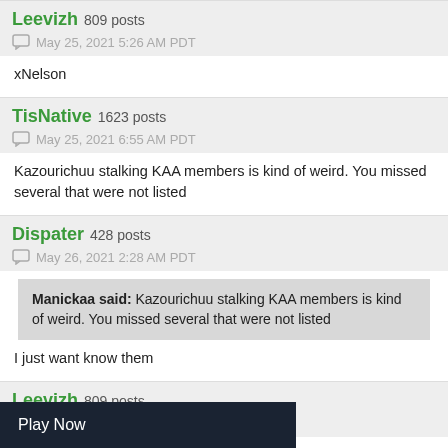Leevizh 809 posts
May 25, 2021 5:26 AM PDT
xNelson
TisNative 1623 posts
May 25, 2021 6:55 AM PDT
Kazourichuu stalking KAA members is kind of weird. You missed several that were not listed
Dispater 428 posts
May 26, 2021 2:28 AM PDT
Manickaa said: Kazourichuu stalking KAA members is kind of weird. You missed several that were not listed
I just want know them
Leevizh 809 posts
May 26, 2021 2:47 AM PDT
Play Now
oo